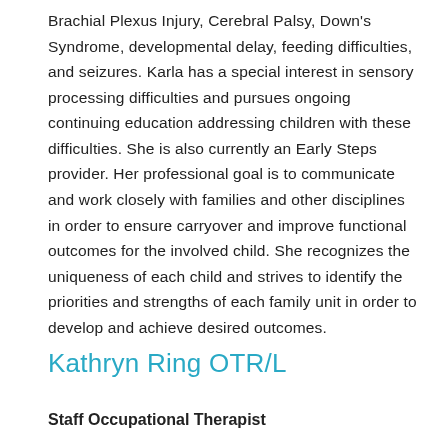Brachial Plexus Injury, Cerebral Palsy, Down's Syndrome, developmental delay, feeding difficulties, and seizures. Karla has a special interest in sensory processing difficulties and pursues ongoing continuing education addressing children with these difficulties. She is also currently an Early Steps provider. Her professional goal is to communicate and work closely with families and other disciplines in order to ensure carryover and improve functional outcomes for the involved child. She recognizes the uniqueness of each child and strives to identify the priorities and strengths of each family unit in order to develop and achieve desired outcomes.
Kathryn Ring OTR/L
Staff Occupational Therapist